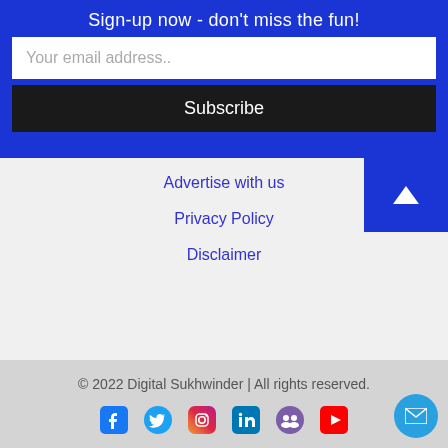Sign-up now - don't miss the fun!
Your email address..
Subscribe
Advertise with us
Privacy Policy
Disclaimer
© 2022 Digital Sukhwinder | All rights reserved.